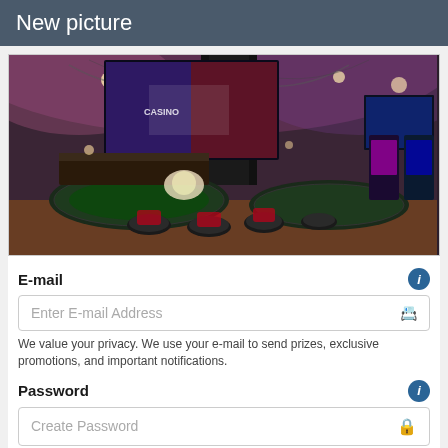New picture
[Figure (photo): Interior of a casino floor with gaming tables, black and red chairs/stools, large display screens showing sports content, slot machines in the background, and decorative ceiling with purple/pink lighting.]
E-mail
Enter E-mail Address
We value your privacy. We use your e-mail to send prizes, exclusive promotions, and important notifications.
Password
Create Password